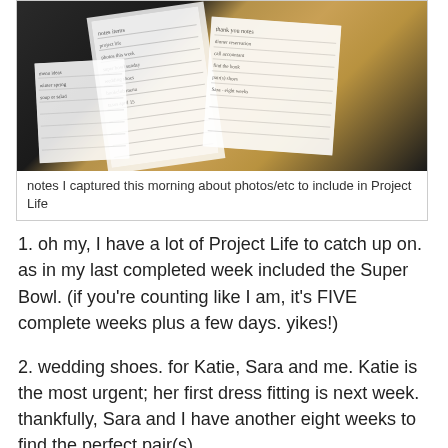[Figure (photo): Photo of handwritten notes on paper slips lying on a granite countertop]
notes I captured this morning about photos/etc to include in Project Life
1. oh my, I have a lot of Project Life to catch up on. as in my last completed week included the Super Bowl. (if you're counting like I am, it's FIVE complete weeks plus a few days. yikes!)
2. wedding shoes. for Katie, Sara and me. Katie is the most urgent; her first dress fitting is next week. thankfully, Sara and I have another eight weeks to find the perfect pair(s).
3. I'm hosting bookclub next Tuesday. thankfully I finished - and loved - the book. but I am caught in that weird place between winter and spring about the menu and can't decide what to fix.
4. taxes are due april 15. our accountant delivered the draft return last week but Marc and I haven't had time to review it